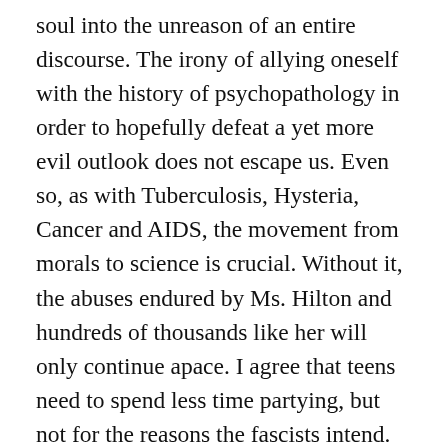soul into the unreason of an entire discourse. The irony of allying oneself with the history of psychopathology in order to hopefully defeat a yet more evil outlook does not escape us. Even so, as with Tuberculosis, Hysteria, Cancer and AIDS, the movement from morals to science is crucial. Without it, the abuses endured by Ms. Hilton and hundreds of thousands like her will only continue apace. I agree that teens need to spend less time partying, but not for the reasons the fascists intend. No, rather youth need to recruit themselves into a war against those very forces which threaten all of our present freedoms and more ominously, all of those freedoms that yet may come.